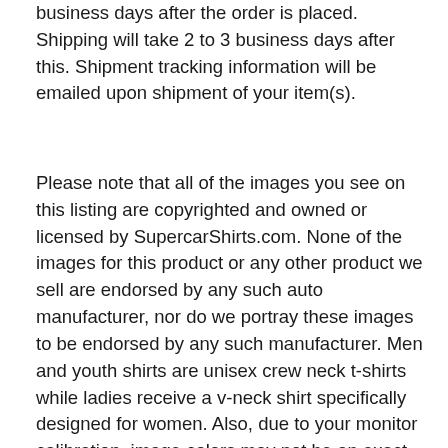business days after the order is placed. Shipping will take 2 to 3 business days after this. Shipment tracking information will be emailed upon shipment of your item(s).
Please note that all of the images you see on this listing are copyrighted and owned or licensed by SupercarShirts.com. None of the images for this product or any other product we sell are endorsed by any such auto manufacturer, nor do we portray these images to be endorsed by any such manufacturer. Men and youth shirts are unisex crew neck t-shirts while ladies receive a v-neck shirt specifically designed for women. Also, due to your monitor calibration, image colors may not be an exact match to the actual fabric color. Therefore, shirt and image colors may vary slightly from what you see on your screen vs. what you receive. Some shirt colors may not be 100% cotton and may contain a small percentage of polyester and some shirts are tagless while others have tags. Finally, available colors vary between men's, women's and youth shirts and may not be exactly the same